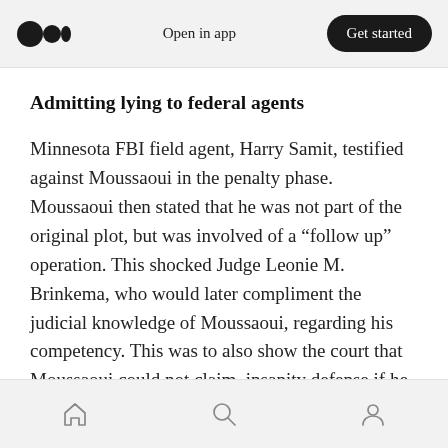Open in app | Get started
Admitting lying to federal agents
Minnesota FBI field agent, Harry Samit, testified against Moussaoui in the penalty phase. Moussaoui then stated that he was not part of the original plot, but was involved of a “follow up” operation. This shocked Judge Leonie M. Brinkema, who would later compliment the judicial knowledge of Moussaoui, regarding his competency. This was to also show the court that Moussaoui could not claim, insanity defense if he wished.
Home Search Profile